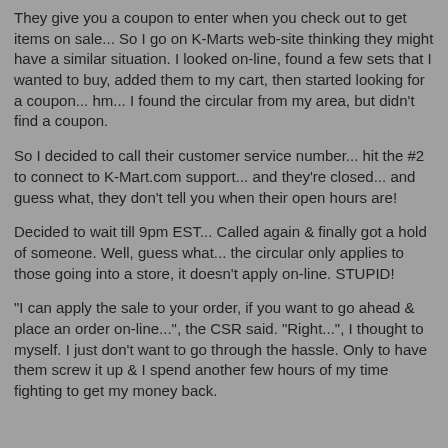They give you a coupon to enter when you check out to get items on sale... So I go on K-Marts web-site thinking they might have a similar situation. I looked on-line, found a few sets that I wanted to buy, added them to my cart, then started looking for a coupon... hm... I found the circular from my area, but didn't find a coupon.
So I decided to call their customer service number... hit the #2 to connect to K-Mart.com support... and they're closed... and guess what, they don't tell you when their open hours are!
Decided to wait till 9pm EST... Called again & finally got a hold of someone. Well, guess what... the circular only applies to those going into a store, it doesn't apply on-line. STUPID!
"I can apply the sale to your order, if you want to go ahead & place an order on-line...", the CSR said. "Right...", I thought to myself. I just don't want to go through the hassle. Only to have them screw it up & I spend another few hours of my time fighting to get my money back.